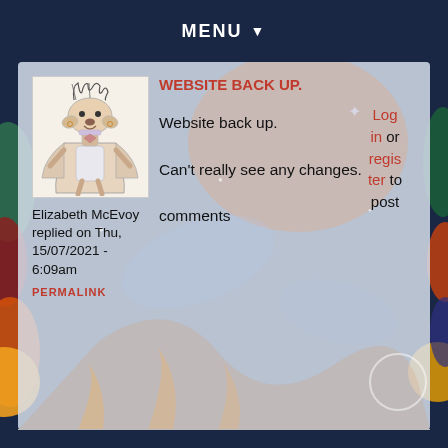MENU ▼
WEBSITE BACK UP.
[Figure (illustration): Hand-drawn illustration of a whimsical dog-like character wearing a cape, standing upright with wild hair, colored pencil style on white background]
Elizabeth McEvoy replied on Thu, 15/07/2021 - 6:09am
PERMALINK
Website back up.

Can't really see any changes.

comments
Log in or register to post